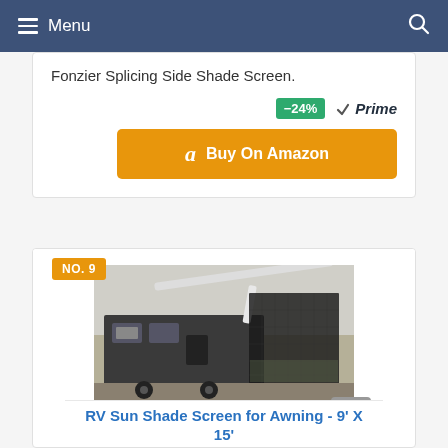Menu
Fonzier Splicing Side Shade Screen.
-24% Prime
Buy On Amazon
NO. 9
[Figure (photo): RV Sun Shade Screen for Awning installed on a recreational vehicle, showing dark mesh screen hanging from white awning arm.]
RV Sun Shade Screen for Awning - 9' X 15'